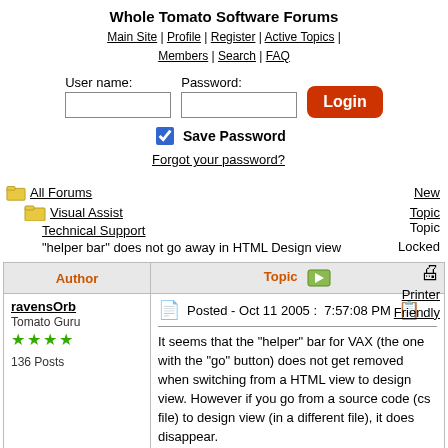Whole Tomato Software Forums
Main Site | Profile | Register | Active Topics | Members | Search | FAQ
User name: [input] Password: [input] Login
Save Password
Forgot your password?
New Topic
All Forums
Visual Assist
Technical Support
"helper bar" does not go away in HTML Design view
Topic Locked
Printer Friendly
| Author | Topic |
| --- | --- |
| ravensOrb
Tomato Guru
★★★★
136 Posts | Posted - Oct 11 2005 :  7:57:08 PM
It seems that the "helper" bar for VAX (the one with the "go" button) does not get removed when switching from a HTML view to design view. However if you go from a source code (cs file) to design view (in a different file), it does disappear. |